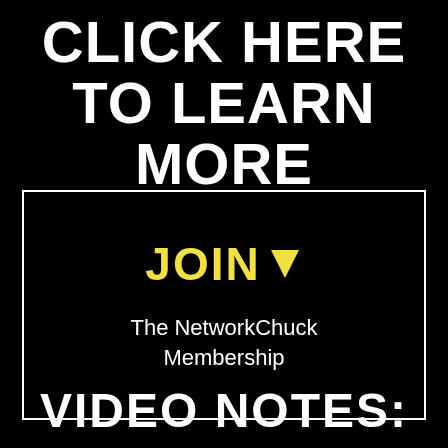CLICK HERE TO LEARN MORE
[Figure (other): Black rectangle with white border containing yellow 'JOIN ↓' text and white 'The NetworkChuck Membership' text below]
VIDEO NOTES: